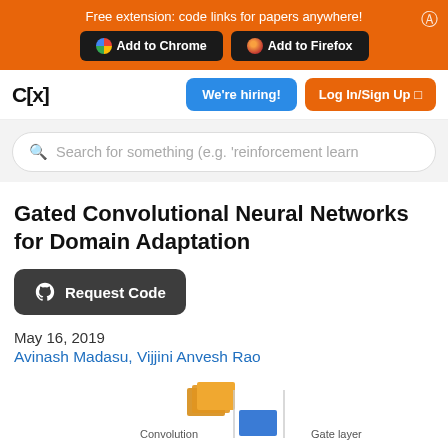Free extension: code links for papers anywhere! Add to Chrome Add to Firefox
[Figure (screenshot): Website navigation bar with C[x] logo, We're hiring! button, and Log In/Sign Up button]
[Figure (screenshot): Search bar with placeholder text: Search for something (e.g. 'reinforcement learn'}]
Gated Convolutional Neural Networks for Domain Adaptation
Request Code
May 16, 2019
Avinash Madasu, Vijjini Anvesh Rao
[Figure (illustration): Partial figure showing Convolution and Gate layer labels with stacked document icons]